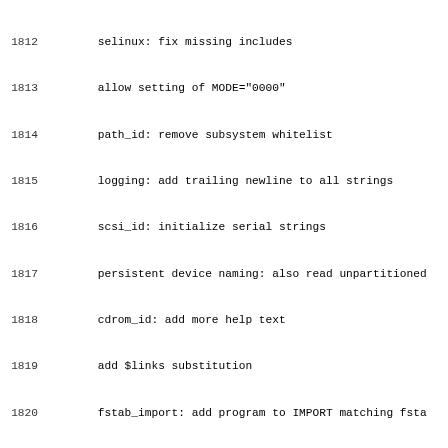1812        selinux: fix missing includes
1813        allow setting of MODE="0000"
1814        path_id: remove subsystem whitelist
1815        logging: add trailing newline to all strings
1816        scsi_id: initialize serial strings
1817        persistent device naming: also read unpartitioned
1818        cdrom_id: add more help text
1819        add $links substitution
1820        fstab_import: add program to IMPORT matching fsta
1821        add OPTIONS+="event_timeout=<seconds>"
1822        write "event_timeout" to db
1823        udevadm: trigger - add --env= option
1824        udevadm: control - fix --env key to accept --env=
1825        udevadm: info - do not print ATTR{dev}==
1826        persistent device naming: update tape rules
1827        rules: update md rules
1828
1829
1830 Summary of changes from v119 to v120
1831 =============================================
1832
1833 Kay Sievers (9):
1834        test: remove duplicated EXTRA entry
1835        rules: remove last WAIT_FOR_SYSFS, load ppdev, sw
1836        udevadm: trigger - option to synthesize events an
1837        udevadm: info - resolve devpath if symlink is giv
1838        udevadm: remove old man page links and compat lin
1839        udevadm: trigger - fix broken socket option check
1840        udevadm: trigger - fix --socket== + --verbose
1841        also accept real socket files for RUN+="socket:<p
1842        persistent device naming: cleanup storage rules
1843
1844 ...